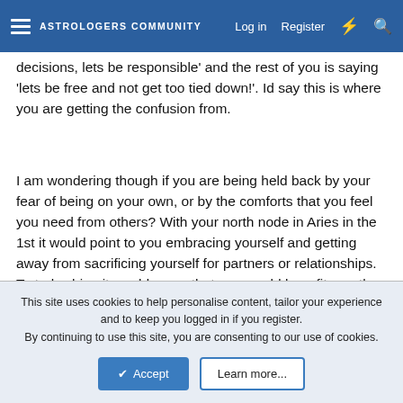ASTROLOGERS COMMUNITY — Log in  Register
decisions, lets be responsible' and the rest of you is saying 'lets be free and not get too tied down!'. Id say this is where you are getting the confusion from.
I am wondering though if you are being held back by your fear of being on your own, or by the comforts that you feel you need from others? With your north node in Aries in the 1st it would point to you embracing yourself and getting away from sacrificing yourself for partners or relationships. To truly shine it would seem that you would benefit greatly from getting in touch with what makes you tick and being a warrior for that cause.
↩ Reply
ninia
This site uses cookies to help personalise content, tailor your experience and to keep you logged in if you register.
By continuing to use this site, you are consenting to our use of cookies.